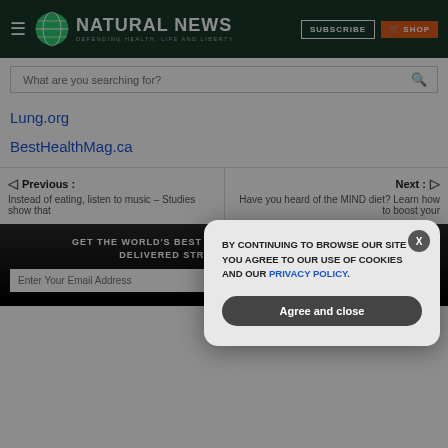Natural News — Defending Health, Life and Liberty
What are you searching for?
Lung.org
BestHealthMag.ca
Previous : Instead of eating, listen to music – Studies show that
Next : Have you heard of the MIND diet? Learn how to boost your
GET THE WORLD'S BEST NATURAL HEALTH NEWSLETTER DELIVERED STRAIGHT TO YOUR INBOX.
Enter Your Email Address
BY CONTINUING TO BROWSE OUR SITE YOU AGREE TO OUR USE OF COOKIES AND OUR PRIVACY POLICY.
Agree and close